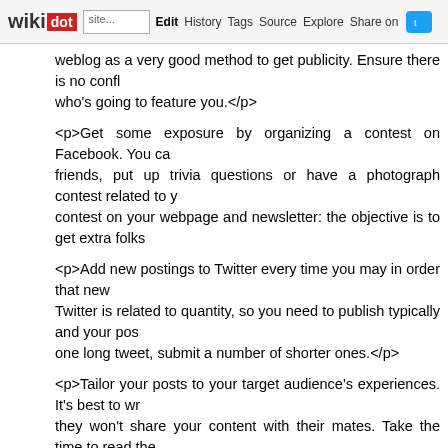wikidot | site Edit History Tags Source Explore Share on Twitter
weblog as a very good method to get publicity. Ensure there is no conflict with who's going to feature you.</p>
<p>Get some exposure by organizing a contest on Facebook. You can invite friends, put up trivia questions or have a photograph contest related to your product, contest on your webpage and newsletter: the objective is to get extra folks...
<p>Add new postings to Twitter every time you may in order that new... Twitter is related to quantity, so you need to publish typically and your post... one long tweet, submit a number of shorter ones.</p>
<p>Tailor your posts to your target audience's experiences. It's best to write... they won't share your content with their mates. Take the time to read the... and identify recurring themes and points you could point out in your perso...
[[image https://i0.wp.com/valoso.com/blog/wp-content/uploads/2017/03 Needs-Improvement-in-Digital-Marketing.jpg?fit=2112%2C1188&amp;ssl=...
<p>Keep your Fb web page updated with your most current blog post... replace your Facebook page to reflect the brand new submit. Have you been able to Still Present You A Factor Or Two permits your followers to en... quickly as potential. The sooner your content is offered to others, the s... guests.</p>
<p>Publish hyperlinks to your organization weblog on all your social med... up. That is a really efficient approach to right away inform all of your fo... new content that they is likely to be thinking about.</p>
<p>If you're using social media to market like Fb or twitter you have to b...